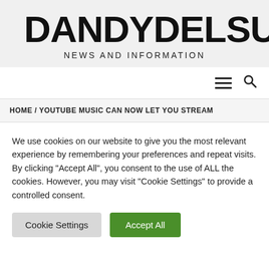DANDYDELSUR.C
NEWS AND INFORMATION
[Figure (screenshot): Navigation bar with hamburger menu icon and search icon]
HOME / YOUTUBE MUSIC CAN NOW LET YOU STREAM
We use cookies on our website to give you the most relevant experience by remembering your preferences and repeat visits. By clicking "Accept All", you consent to the use of ALL the cookies. However, you may visit "Cookie Settings" to provide a controlled consent.
Cookie Settings | Accept All